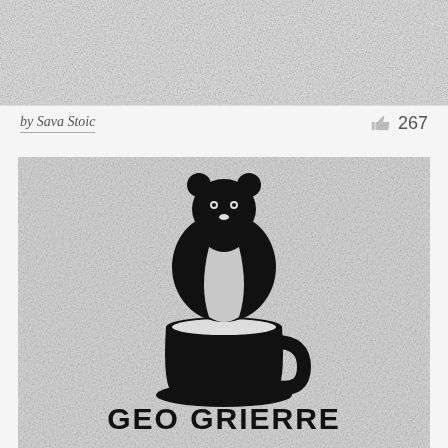[Figure (photo): Top portion of a previous logo design, showing textured gray background, cropped.]
by Sava Stoic
267
[Figure (logo): Bear sitting inside/on top of a coffee cup logo design on textured gray background, with partial text at the bottom reading 'GEO GRIEPPE' or similar.]